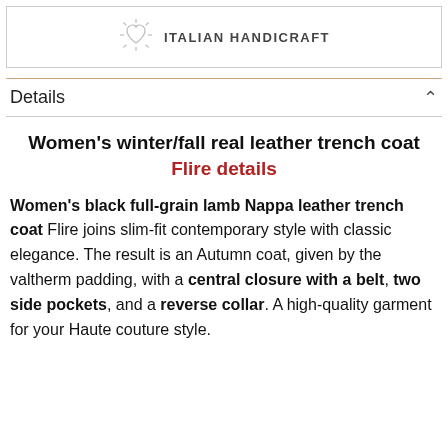ITALIAN HANDICRAFT
Details
Women's winter/fall real leather trench coat
Flire details
Women's black full-grain lamb Nappa leather trench coat Flire joins slim-fit contemporary style with classic elegance. The result is an Autumn coat, given by the valtherm padding, with a central closure with a belt, two side pockets, and a reverse collar. A high-quality garment for your Haute couture style.